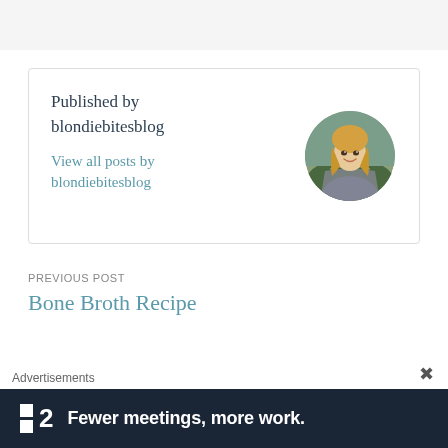Published by blondiebitesblog
View all posts by blondiebitesblog
[Figure (photo): Circular avatar photo of a blonde woman smiling outdoors]
PREVIOUS POST
Bone Broth Recipe
Advertisements
[Figure (screenshot): Dark advertisement banner: logo with two squares and number 2, text reads 'Fewer meetings, more work.']